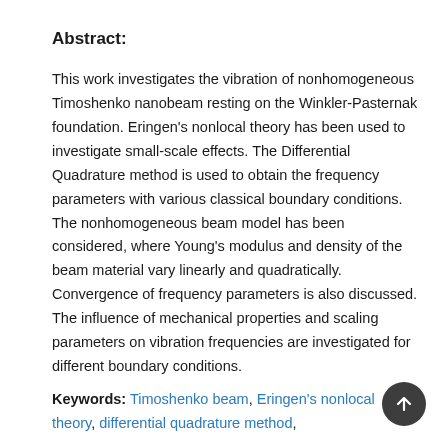Abstract:
This work investigates the vibration of nonhomogeneous Timoshenko nanobeam resting on the Winkler-Pasternak foundation. Eringen's nonlocal theory has been used to investigate small-scale effects. The Differential Quadrature method is used to obtain the frequency parameters with various classical boundary conditions. The nonhomogeneous beam model has been considered, where Young's modulus and density of the beam material vary linearly and quadratically. Convergence of frequency parameters is also discussed. The influence of mechanical properties and scaling parameters on vibration frequencies are investigated for different boundary conditions.
Keywords: Timoshenko beam, Eringen's nonlocal theory, differential quadrature method,